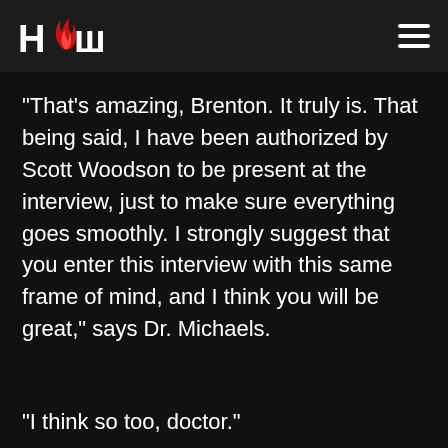HCW (logo with flame icon) and hamburger menu
“That’s amazing, Brenton. It truly is. That being said, I have been authorized by Scott Woodson to be present at the interview, just to make sure everything goes smoothly. I strongly suggest that you enter this interview with this same frame of mind, and I think you will be great,” says Dr. Michaels.
“I think so too, doctor.”